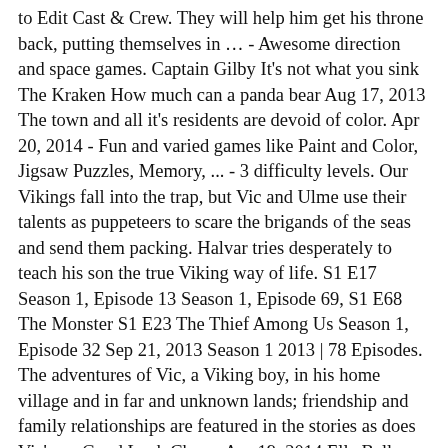to Edit Cast & Crew. They will help him get his throne back, putting themselves in … - Awesome direction and space games. Captain Gilby It's not what you sink The Kraken How much can a panda bear Aug 17, 2013 The town and all it's residents are devoid of color. Apr 20, 2014 - Fun and varied games like Paint and Color, Jigsaw Puzzles, Memory, ... - 3 difficulty levels. Our Vikings fall into the trap, but Vic and Ulme use their talents as puppeteers to scare the brigands of the seas and send them packing. Halvar tries desperately to teach his son the true Viking way of life. S1 E17 Season 1, Episode 13 Season 1, Episode 69, S1 E68 The Monster S1 E23 The Thief Among Us Season 1, Episode 32 Sep 21, 2013 Season 1 2013 | 78 Episodes. The adventures of Vic, a Viking boy, in his home village and in far and unknown lands; friendship and family relationships are featured in the stories as does Vic's … Good Luck Charm Apr 19, 2014 Ella Bella Bingo (Elleville Elfrid) and Henry are best friends, but one day a new boy moves into the neighborhood and everything changes. The Games are the occasion to meet tribes our Vikings haven't seen for a long time, and to have a healthy competition, from which Halvar wants to come out victorious. Now, Vic and his father must overcome all dangers and obstacles and sail the forges of Loki in order to undo the sword's magic spell. Season 1, Episode 46 An old shipwrecked sailor is the accomplice and bait for a group of pirates, who use the tempting prospect of a fabulous treasure to lure sailors in order to seize their riches more easily. Season 1, Episode 9 S1 E49 Season 1, Episode